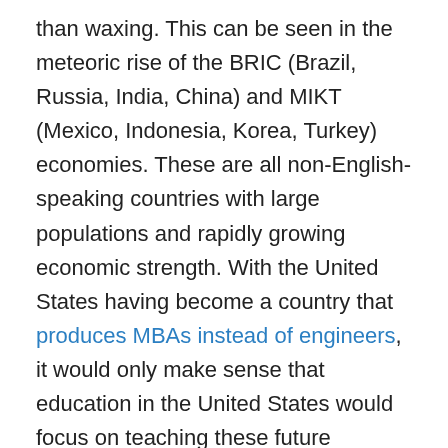than waxing. This can be seen in the meteoric rise of the BRIC (Brazil, Russia, India, China) and MIKT (Mexico, Indonesia, Korea, Turkey) economies. These are all non-English-speaking countries with large populations and rapidly growing economic strength. With the United States having become a country that produces MBAs instead of engineers, it would only make sense that education in the United States would focus on teaching these future managers and world leaders to communicate in other languages.
However instead, MBA graduates go out into the world with the expectation that everyone in these rising markets will speak to them in English. While the arrogance of this expectation has been largely understandable in the past, it will not remain so for much longer. According to one British Council, not the 2050, Spanish will be expected to...